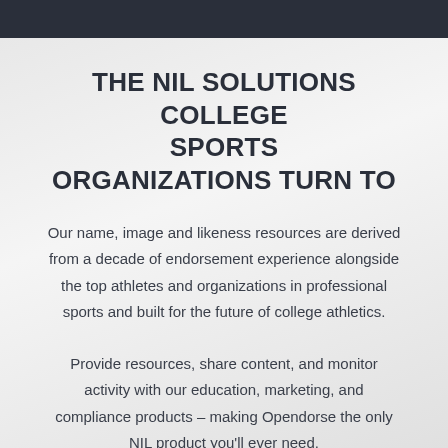THE NIL SOLUTIONS COLLEGE SPORTS ORGANIZATIONS TURN TO
Our name, image and likeness resources are derived from a decade of endorsement experience alongside the top athletes and organizations in professional sports and built for the future of college athletics.
Provide resources, share content, and monitor activity with our education, marketing, and compliance products – making Opendorse the only NIL product you'll ever need.